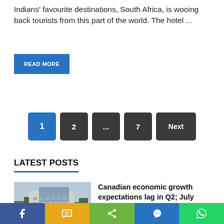Indians' favourite destinations, South Africa, is wooing back tourists from this part of the world. The hotel ...
READ MORE
1  2  ...  7  Next
LATEST POSTS
[Figure (photo): Photo of a government or bank building with glass and stone facade, trees visible in foreground]
Canadian economic growth expectations lag in Q2; July estimate foretells contraction
August 31, 2022
f  SMS  Share  Messenger  WhatsApp